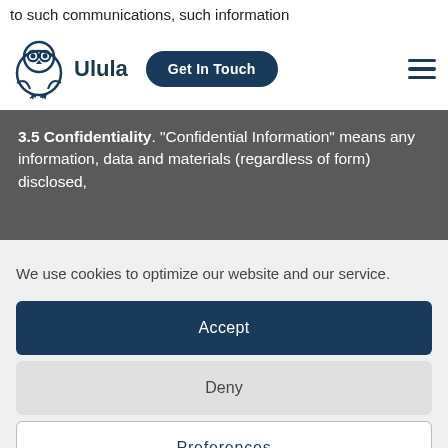to such communications, such information
[Figure (logo): Ulula owl logo with text 'Ulula' and 'Get In Touch' button and hamburger menu icon]
3.5 Confidentiality. "Confidential Information" means any information, data and materials (regardless of form) disclosed,
We use cookies to optimize our website and our service.
Accept
Deny
Preferences
Privacy Policy   Corporate Privacy Policy